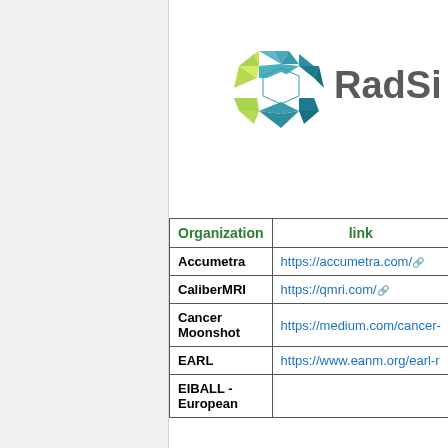[Figure (logo): RadSite logo with hexagonal geometric icon in teal/blue/green and 'RadSite' text in gray with TM mark]
| Organization | link |
| --- | --- |
| Accumetra | https://accumetra.com/ |
| CaliberMRI | https://qmri.com/ |
| Cancer Moonshot | https://medium.com/cancer- |
| EARL | https://www.eanm.org/earl-r |
| EIBALL - European |  |